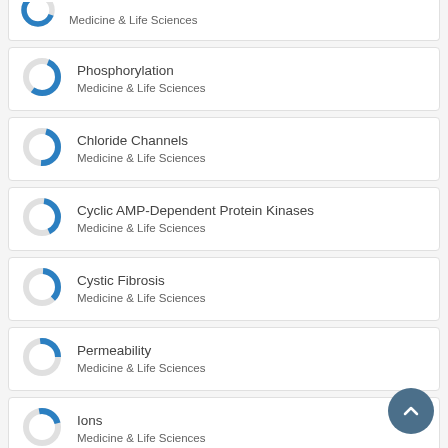Medicine & Life Sciences (donut icon, partial top card)
Phosphorylation — Medicine & Life Sciences
Chloride Channels — Medicine & Life Sciences
Cyclic AMP-Dependent Protein Kinases — Medicine & Life Sciences
Cystic Fibrosis — Medicine & Life Sciences
Permeability — Medicine & Life Sciences
Ions — Medicine & Life Sciences